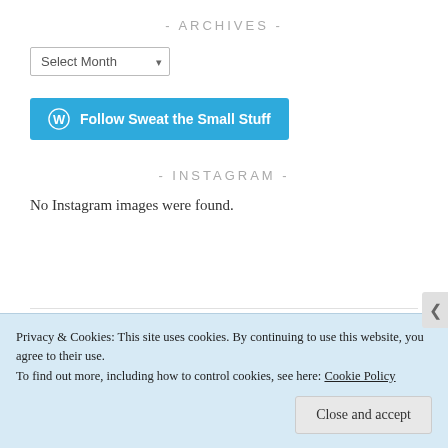- ARCHIVES -
[Figure (screenshot): A dropdown selector labeled 'Select Month' with a down arrow]
[Figure (screenshot): A teal/blue button with WordPress logo icon and text 'Follow Sweat the Small Stuff']
- INSTAGRAM -
No Instagram images were found.
Privacy & Cookies: This site uses cookies. By continuing to use this website, you agree to their use. To find out more, including how to control cookies, see here: Cookie Policy
Close and accept